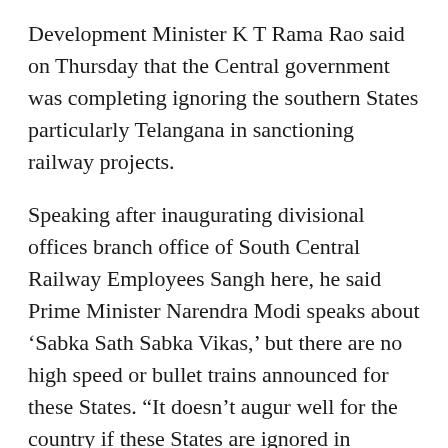Development Minister K T Rama Rao said on Thursday that the Central government was completing ignoring the southern States particularly Telangana in sanctioning railway projects.
Speaking after inaugurating divisional offices branch office of South Central Railway Employees Sangh here, he said Prime Minister Narendra Modi speaks about ‘Sabka Sath Sabka Vikas,’ but there are no high speed or bullet trains announced for these States. “It doesn’t augur well for the country if these States are ignored in sanctioning railway projects especially high speed and bullet trains,” he said, and pointed out that the southern States were top in any sector particularly cities like Hyderabad, Bengaluru and Chennai that have